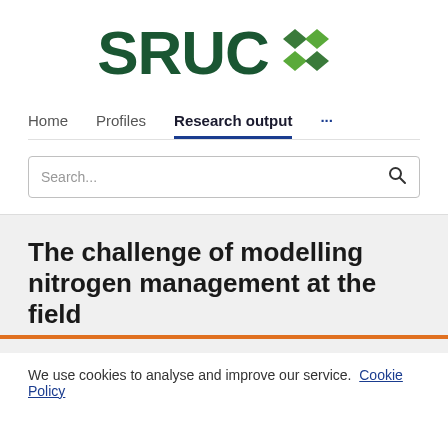[Figure (logo): SRUC logo with green text 'SRUC' and a green diamond/rhombus icon made of four diamond shapes]
Home   Profiles   Research output   ...
Search...
The challenge of modelling nitrogen management at the field
We use cookies to analyse and improve our service. Cookie Policy